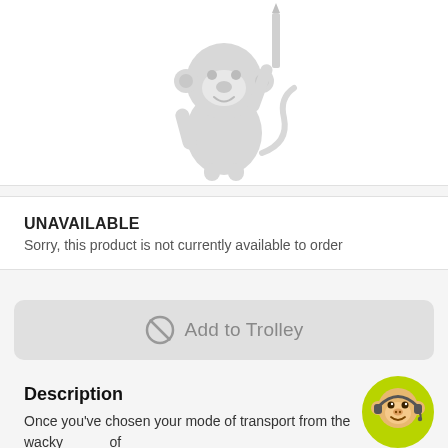[Figure (illustration): Greyed-out cartoon monkey/animal character holding a pencil, acting as a placeholder image for an unavailable product]
UNAVAILABLE
Sorry, this product is not currently available to order
[Figure (other): Greyed-out 'Add to Trolley' button with a prohibition/ban circle icon]
Description
Once you've chosen your mode of transport from the wacky range of customised cars and crazy characters equipped with individual
[Figure (illustration): Round monkey customer service avatar with headset, positioned bottom-right corner]